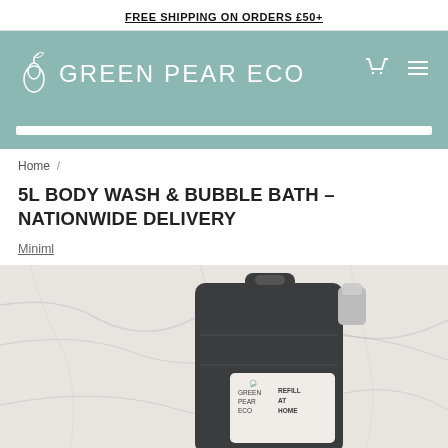FREE SHIPPING ON ORDERS £50+
[Figure (logo): Green Pear Eco logo with pear icon and navigation icons (cart, hamburger menu) on teal background]
Home /
5L BODY WASH & BUBBLE BATH - NATIONWIDE DELIVERY
Miniml
[Figure (photo): A large dark grey 5L plastic container/jerry can with a Green Pear Eco label reading 'GREEN PEAR ECO REFILL AT HOME', placed on a white marble surface. A white pump bottle is visible behind it.]